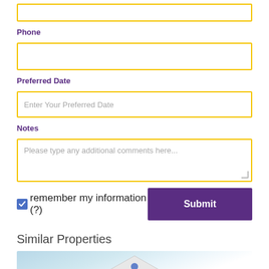Phone
(empty phone input field)
Preferred Date
Enter Your Preferred Date
Notes
Please type any additional comments here...
remember my information (?)
Submit
Similar Properties
[Figure (photo): House exterior photo showing rooftop and facade of a white residential property against a light blue sky background]